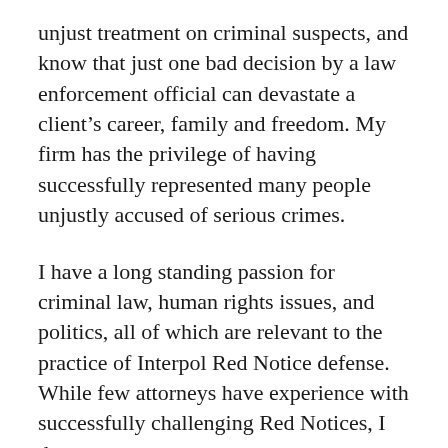unjust treatment on criminal suspects, and know that just one bad decision by a law enforcement official can devastate a client's career, family and freedom. My firm has the privilege of having successfully represented many people unjustly accused of serious crimes.
I have a long standing passion for criminal law, human rights issues, and politics, all of which are relevant to the practice of Interpol Red Notice defense. While few attorneys have experience with successfully challenging Red Notices, I do.
The Red Notice Law Journal exists to provide information, support, and a forum for conversations between people whose lives are affected by Red Notices, their attorneys, and those who study Red Notices and related matters. I began this blog after